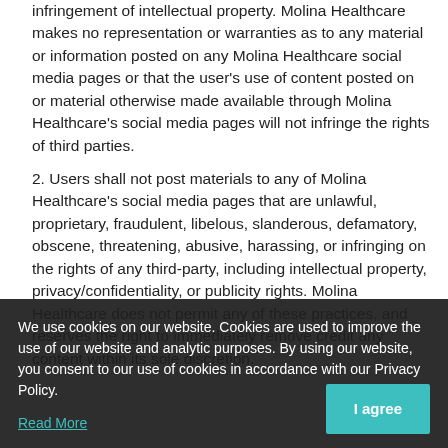infringement of intellectual property. Molina Healthcare makes no representation or warranties as to any material or information posted on any Molina Healthcare social media pages or that the user's use of content posted on or material otherwise made available through Molina Healthcare's social media pages will not infringe the rights of third parties.
2. Users shall not post materials to any of Molina Healthcare's social media pages that are unlawful, proprietary, fraudulent, libelous, slanderous, defamatory, obscene, threatening, abusive, harassing, or infringing on the rights of any third-party, including intellectual property, privacy/confidentiality, or publicity rights. Molina Healthcare does not permit any of these practices, and reserves the right to immediately remove credit any content within its sole discretion.
3. By submitting content on or through Molina Healthcare's social media pages the user grants Molina Healthcare an unrestricted, nonexclusive, royalty-free, perpetual, irrev... and fully sub licensable right to use, reproduce, m... publish, translate, create derivative works from, distribute, and
We use cookies on our website. Cookies are used to improve the use of our website and analytic purposes. By using our website, you consent to our use of cookies in accordance with our Privacy Policy.